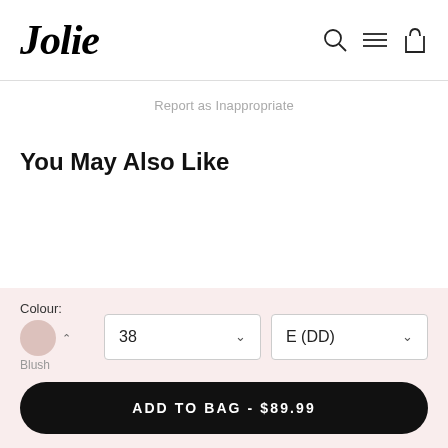Jolie
Report as Inappropriate
You May Also Like
Colour: Blush | 38 | E (DD)
ADD TO BAG - $89.99